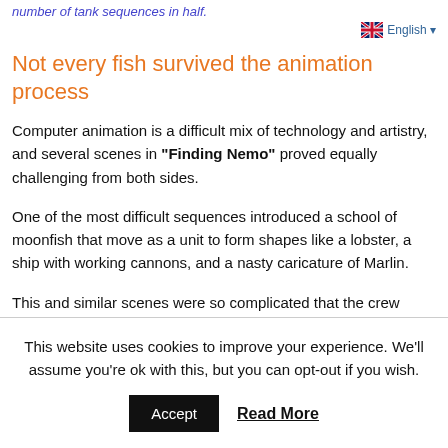number of tank sequences in half.
English ▼
Not every fish survived the animation process
Computer animation is a difficult mix of technology and artistry, and several scenes in "Finding Nemo" proved equally challenging from both sides.
One of the most difficult sequences introduced a school of moonfish that move as a unit to form shapes like a lobster, a ship with working cannons, and a nasty caricature of Marlin.
This and similar scenes were so complicated that the crew
This website uses cookies to improve your experience. We'll assume you're ok with this, but you can opt-out if you wish.
Accept
Read More